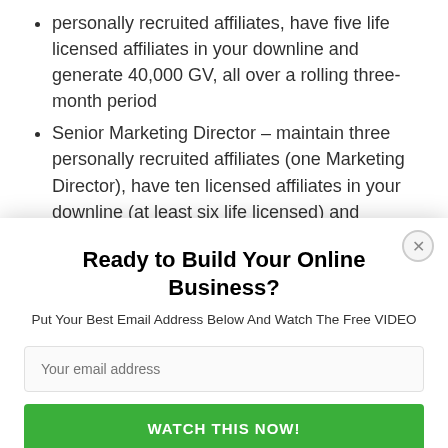personally recruited affiliates, have five life licensed affiliates in your downline and generate 40,000 GV, all over a rolling three-month period
Senior Marketing Director – maintain three personally recruited affiliates (one Marketing Director), have ten licensed affiliates in your downline (at least six life licensed) and generate...
Ready to Build Your Online Business?
Put Your Best Email Address Below And Watch The Free VIDEO
Your email address
WATCH THIS NOW!